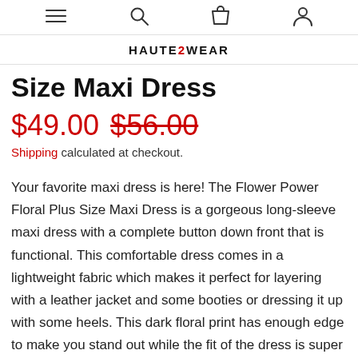≡  🔍  🛍  👤
HAUTE2WEAR
Size Maxi Dress
$49.00  $56.00
Shipping calculated at checkout.
Your favorite maxi dress is here! The Flower Power Floral Plus Size Maxi Dress is a gorgeous long-sleeve maxi dress with a complete button down front that is functional. This comfortable dress comes in a lightweight fabric which makes it perfect for layering with a leather jacket and some booties or dressing it up with some heels. This dark floral print has enough edge to make you stand out while the fit of the dress is super casual and comfortable.